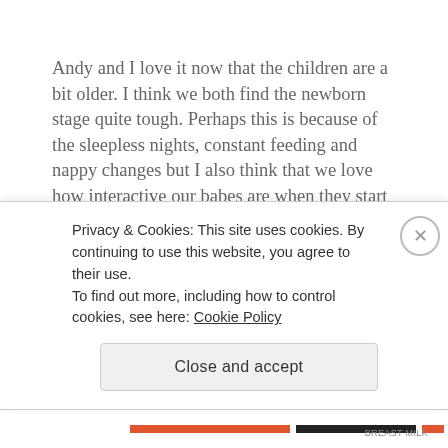Andy and I love it now that the children are a bit older. I think we both find the newborn stage quite tough. Perhaps this is because of the sleepless nights, constant feeding and nappy changes but I also think that we love how interactive our babes are when they start to talk and play. Our happiest family moments always involve laughter and giggles. Andy and Annabelle seem to be the type of people who can make others laugh so
Privacy & Cookies: This site uses cookies. By continuing to use this website, you agree to their use.
To find out more, including how to control cookies, see here: Cookie Policy
Close and accept